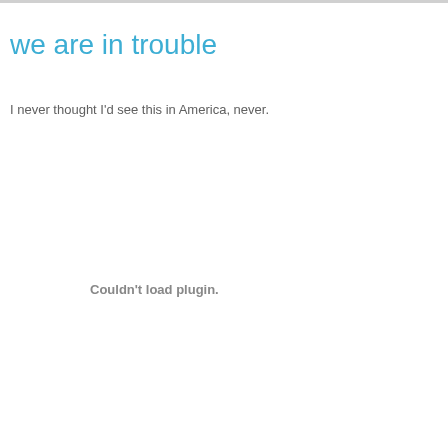we are in trouble
I never thought I'd see this in America, never.
Couldn't load plugin.